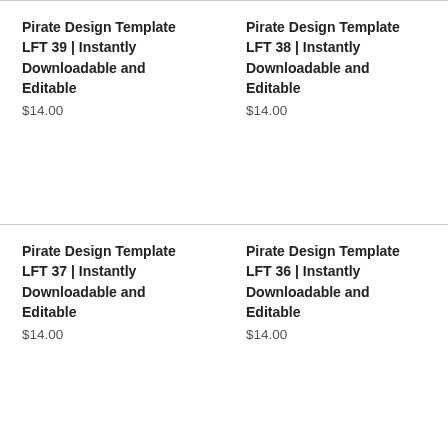Pirate Design Template LFT 39 | Instantly Downloadable and Editable
$14.00
Pirate Design Template LFT 38 | Instantly Downloadable and Editable
$14.00
Pirate Design Template LFT 37 | Instantly Downloadable and Editable
$14.00
Pirate Design Template LFT 36 | Instantly Downloadable and Editable
$14.00